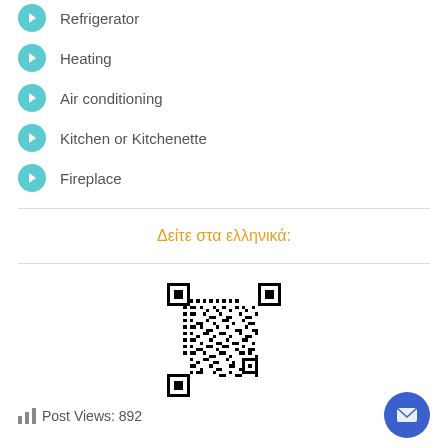Refrigerator
Heating
Air conditioning
Kitchen or Kitchenette
Fireplace
Δείτε στα ελληνικά:
[Figure (other): QR code linking to Greek version of the page]
Post Views: 892